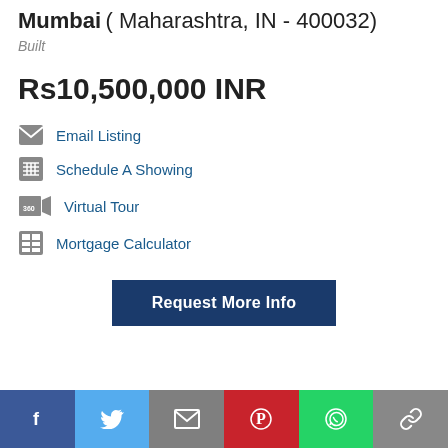Mumbai ( Maharashtra, IN - 400032)
Built
Rs10,500,000 INR
Email Listing
Schedule A Showing
Virtual Tour
Mortgage Calculator
Details
Request More Info